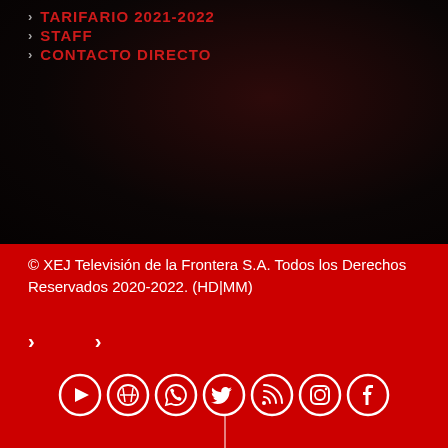TARIFARIO 2021-2022
STAFF
CONTACTO DIRECTO
© XEJ Televisión de la Frontera S.A. Todos los Derechos Reservados 2020-2022. (HD|MM)
[Figure (illustration): Social media icons row: YouTube, WordPress, WhatsApp, Twitter, RSS, Instagram, Facebook — white circle outlines on red background]